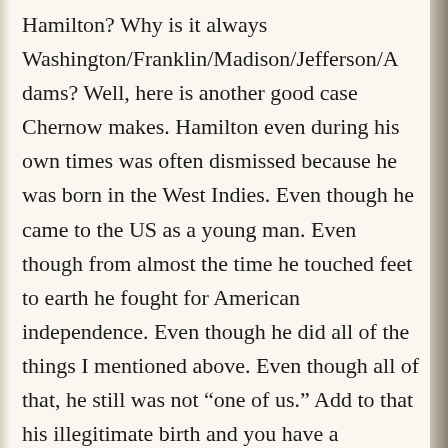Hamilton? Why is it always Washington/Franklin/Madison/Jefferson/Adams? Well, here is another good case Chernow makes. Hamilton even during his own times was often dismissed because he was born in the West Indies. Even though he came to the US as a young man. Even though from almost the time he touched feet to earth he fought for American independence. Even though he did all of the things I mentioned above. Even though all of that, he still was not “one of us.” Add to that his illegitimate birth and you have a bifurcated rationale for dismissal that he was never able to overcome. Even after